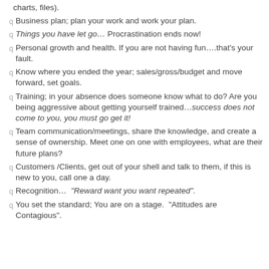charts, files).
Business plan; plan your work and work your plan.
Things you have let go… Procrastination ends now!
Personal growth and health. If you are not having fun….that's your fault.
Know where you ended the year; sales/gross/budget and move forward, set goals.
Training; in your absence does someone know what to do? Are you being aggressive about getting yourself trained…success does not come to you, you must go get it!
Team communication/meetings, share the knowledge, and create a sense of ownership. Meet one on one with employees, what are their future plans?
Customers /Clients, get out of your shell and talk to them, if this is new to you, call one a day.
Recognition…  "Reward want you want repeated".
You set the standard; You are on a stage.  "Attitudes are Contagious".